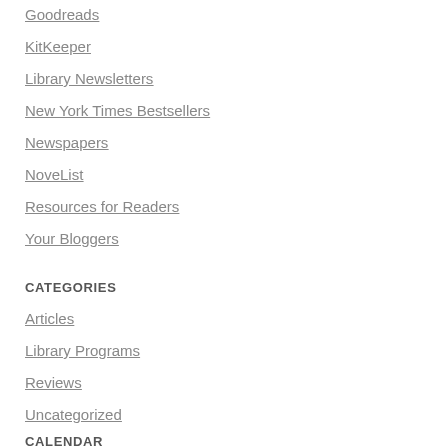Goodreads
KitKeeper
Library Newsletters
New York Times Bestsellers
Newspapers
NoveList
Resources for Readers
Your Bloggers
CATEGORIES
Articles
Library Programs
Reviews
Uncategorized
CALENDAR